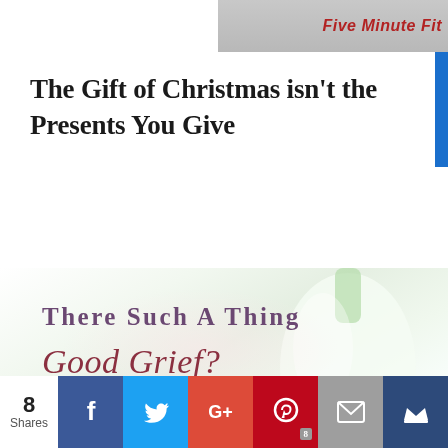[Figure (screenshot): Top banner image strip showing partial text 'Five Minute Fit' in red italic bold text on gray background]
The Gift of Christmas isn't the Presents You Give
[Figure (illustration): Blog post featured image with a soft white/green vase on a blurred background, overlaid with text: 'There Such a Thing Good Grief?' and URL 'w.anitaojeda.com']
8 Shares | Facebook | Twitter | Google+ | Pinterest 8 | Email | Crown icon